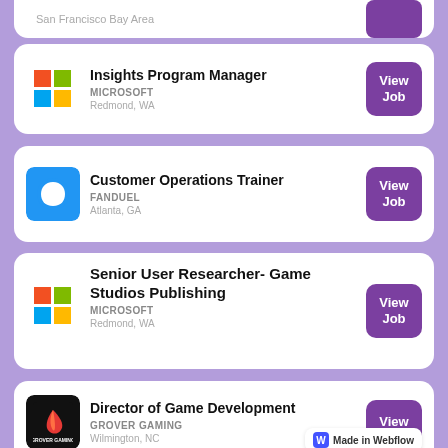San Francisco Bay Area
Insights Program Manager | MICROSOFT | Redmond, WA
Customer Operations Trainer | FANDUEL | Atlanta, GA
Senior User Researcher- Game Studios Publishing | MICROSOFT | Redmond, WA
Director of Game Development | GROVER GAMING | Wilmington, NC
Made in Webflow